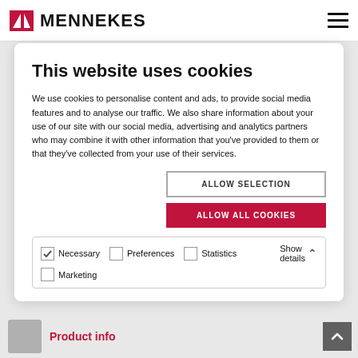MENNEKES
This website uses cookies
We use cookies to personalise content and ads, to provide social media features and to analyse our traffic. We also share information about your use of our site with our social media, advertising and analytics partners who may combine it with other information that you've provided to them or that they've collected from your use of their services.
ALLOW SELECTION
ALLOW ALL COOKIES
Necessary  Preferences  Statistics  Marketing  Show details
Product info